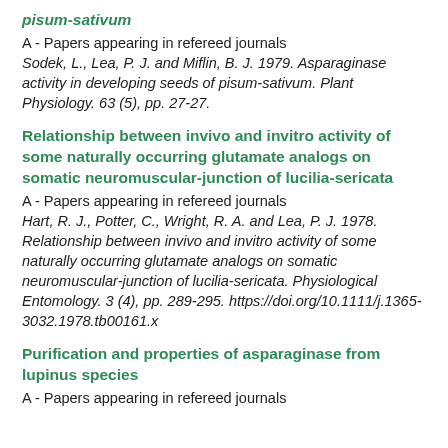pisum-sativum
A - Papers appearing in refereed journals
Sodek, L., Lea, P. J. and Miflin, B. J. 1979. Asparaginase activity in developing seeds of pisum-sativum. Plant Physiology. 63 (5), pp. 27-27.
Relationship between invivo and invitro activity of some naturally occurring glutamate analogs on somatic neuromuscular-junction of lucilia-sericata
A - Papers appearing in refereed journals
Hart, R. J., Potter, C., Wright, R. A. and Lea, P. J. 1978. Relationship between invivo and invitro activity of some naturally occurring glutamate analogs on somatic neuromuscular-junction of lucilia-sericata. Physiological Entomology. 3 (4), pp. 289-295. https://doi.org/10.1111/j.1365-3032.1978.tb00161.x
Purification and properties of asparaginase from lupinus species
A - Papers appearing in refereed journals